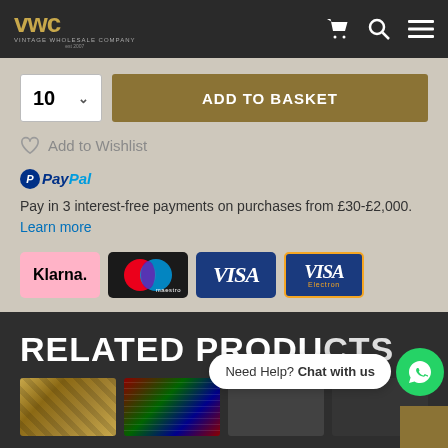VWC Vintage Wholesale Company
10  ADD TO BASKET
Add to Wishlist
PayPal Pay in 3 interest-free payments on purchases from £30-£2,000. Learn more
[Figure (logo): Payment method logos: Klarna, Maestro, Visa, Visa Electron]
RELATED PRODUCTS
Need Help? Chat with us
[Figure (photo): Product thumbnail images at bottom of page]